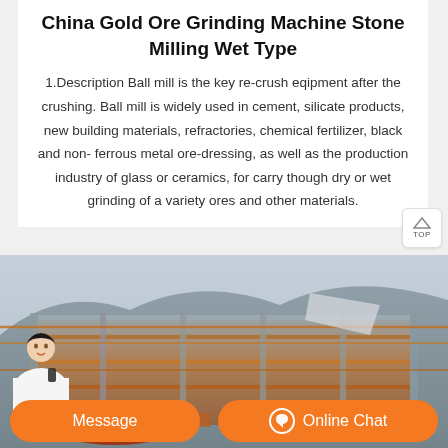China Gold Ore Grinding Machine Stone Milling Wet Type
1.Description Ball mill is the key re-crush eqipment after the crushing. Ball mill is widely used in cement, silicate products, new building materials, refractories, chemical fertilizer, black and non-ferrous metal ore-dressing, as well as the production industry of glass or ceramics, for carry though dry or wet grinding of a variety ores and other materials.
[Figure (photo): Industrial gold ore grinding machine / ball mill equipment at a mining site with orange/rust colored machinery and steel scaffold structure against a rocky hillside background]